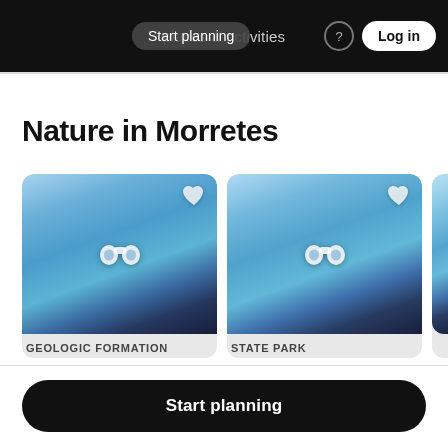Start planning  places & activities  Log in
Nature in Morretes
[Figure (photo): Blurred scenic landscape photo with binoculars icon and heart icon, labeled GEOLOGIC FORMATION]
GEOLOGIC FORMATION
[Figure (photo): Blurred scenic landscape photo with binoculars icon and heart icon, labeled STATE PARK]
STATE PARK
Start planning